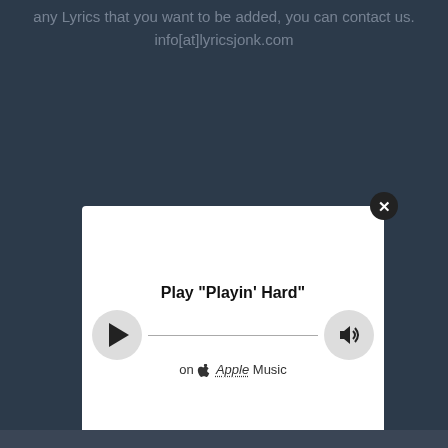any Lyrics that you want to be added, you can contact us.
info[at]lyricsjonk.com
[Figure (screenshot): Music player widget showing Play 'Playin' Hard' on Apple Music with play and volume buttons connected by a horizontal line, inside a white modal with a close (X) button in the top-right corner.]